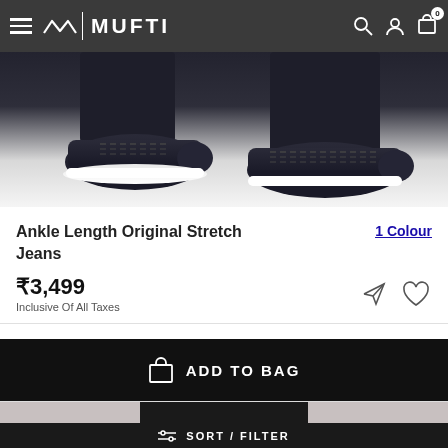MUFTI
[Figure (photo): Two dark navy/black sneakers with white soles displayed on a person's feet wearing dark trousers, photographed from above against a white background]
Ankle Length Original Stretch Jeans
1 Colour
₹3,499
Inclusive Of All Taxes
ADD TO BAG
[Figure (photo): Partial view of a person wearing dark blue jeans and a black top, showing the waist/hip area]
SORT / FILTER